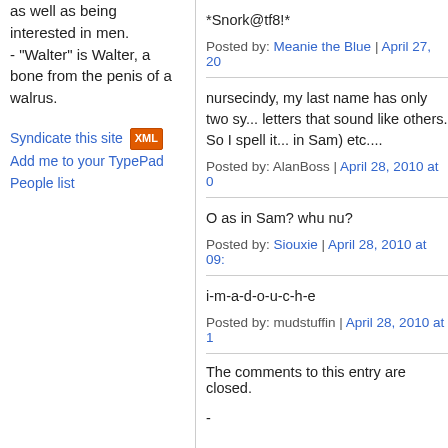as well as being interested in men.
- "Walter" is Walter, a bone from the penis of a walrus.
Syndicate this site [XML] Add me to your TypePad People list
*Snork@tf8!*
Posted by: Meanie the Blue | April 27, 20...
nursecindy, my last name has only two sy... letters that sound like others. So I spell it... in Sam) etc....
Posted by: AlanBoss | April 28, 2010 at 0...
O as in Sam? whu nu?
Posted by: Siouxie | April 28, 2010 at 09:...
i-m-a-d-o-u-c-h-e
Posted by: mudstuffin | April 28, 2010 at 1...
The comments to this entry are closed.
-